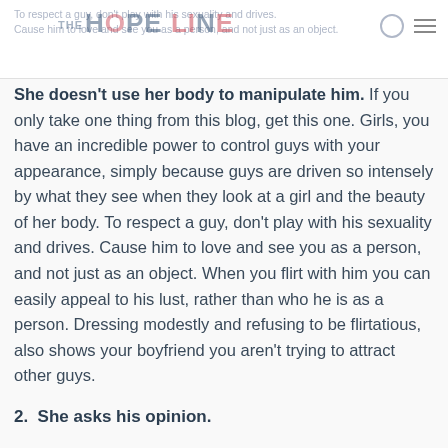To respect a guy, don't play with his sexuality and drives. Cause him to love and see you as a person, and not just as an object.
She doesn't use her body to manipulate him. If you only take one thing from this blog, get this one. Girls, you have an incredible power to control guys with your appearance, simply because guys are driven so intensely by what they see when they look at a girl and the beauty of her body. To respect a guy, don't play with his sexuality and drives. Cause him to love and see you as a person, and not just as an object. When you flirt with him you can easily appeal to his lust, rather than who he is as a person. Dressing modestly and refusing to be flirtatious, also shows your boyfriend you aren't trying to attract other guys.
2.  She asks his opinion.